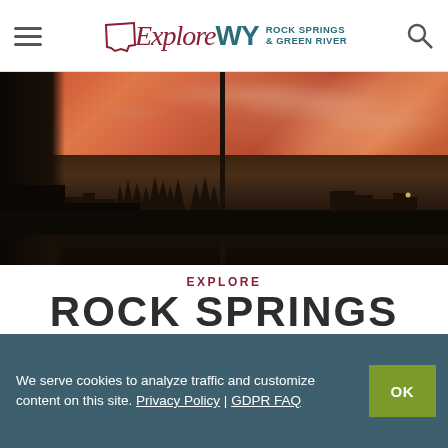ExploreWY Rock Springs & Green River
[Figure (photo): Dramatic sunset panorama over Rock Springs, Wyoming — red-orange sky with wispy clouds, silhouetted treeline and buildings, utility pole in center]
EXPLORE
ROCK SPRINGS
DIG DEEP INTO WYOMING'S MINING AND RAILROAD HISTORY
We serve cookies to analyze traffic and customize content on this site. Privacy Policy | GDPR FAQ